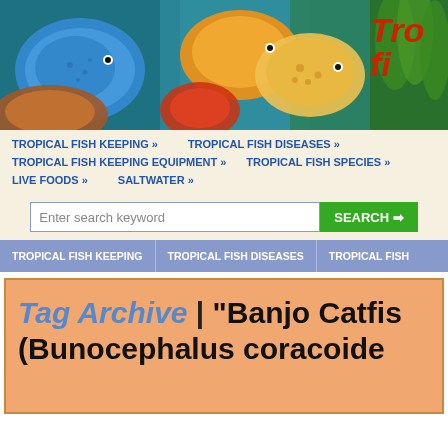[Figure (photo): Header banner photo of colorful tropical discus fish in an aquarium with green plants, with 'Tro...' logo text in red in top right corner]
TROPICAL FISH KEEPING » | TROPICAL FISH DISEASES » | TROPICAL FISH KEEPING EQUIPMENT » | TROPICAL FISH SPECIES » | LIVE FOODS » | SALTWATER »
Enter search keyword
SEARCH →
TROPICAL FISH KEEPING | TROPICAL FISH DISEASES | TROPICAL FISH
Tag Archive | "Banjo Catfish (Bunocephalus coracoideu..."